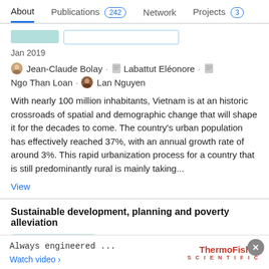About  Publications 242  Network  Projects 3
Jan 2019
Jean-Claude Bolay · Labattut Eléonore · Ngo Than Loan · Lan Nguyen
With nearly 100 million inhabitants, Vietnam is at an historic crossroads of spatial and demographic change that will shape it for the decades to come. The country's urban population has effectively reached 37%, with an annual growth rate of around 3%. This rapid urbanization process for a country that is still predominantly rural is mainly taking...
View
Sustainable development, planning and poverty alleviation
Conference Paper
Jan 2019
Advertisement
Always engineered ...
Watch video ›
[Figure (logo): ThermoFisher Scientific logo in red]